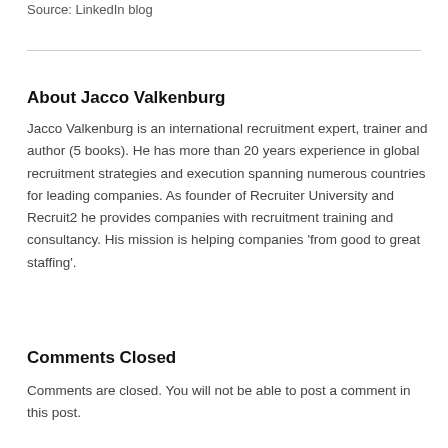Source: LinkedIn blog
About Jacco Valkenburg
Jacco Valkenburg is an international recruitment expert, trainer and author (5 books). He has more than 20 years experience in global recruitment strategies and execution spanning numerous countries for leading companies. As founder of Recruiter University and Recruit2 he provides companies with recruitment training and consultancy. His mission is helping companies ‘from good to great staffing’.
Comments Closed
Comments are closed. You will not be able to post a comment in this post.